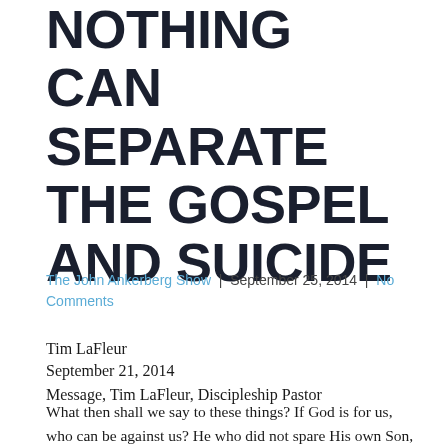NOTHING CAN SEPARATE THE GOSPEL AND SUICIDE
The John Ankerberg Show | September 25, 2014 | No Comments
Tim LaFleur
September 21, 2014
Message, Tim LaFleur, Discipleship Pastor
What then shall we say to these things? If God is for us, who can be against us? He who did not spare His own Son, but delivered Him up for us all, how shall He not also with Him freely give us all things? Who will bring a charge against God's elect? It is God who justifies. Who is he that condemns? It is Christ that died and